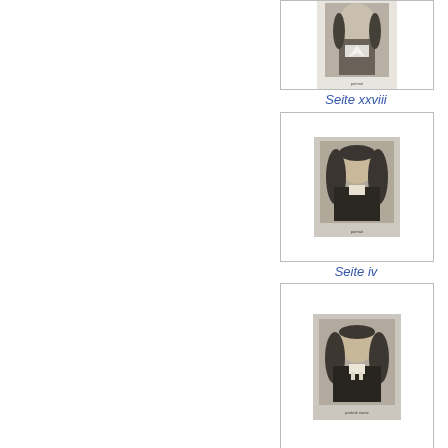[Figure (illustration): Portrait engraving of a historical figure, partially cropped at top]
Seite xxviii
[Figure (illustration): Portrait engraving of a historical figure with long curly wig, small caption below]
Seite iv
[Figure (illustration): Portrait engraving of a historical figure in clerical dress, small caption below reading what appears to be a name]